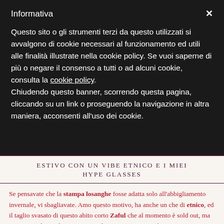Informativa
Questo sito o gli strumenti terzi da questo utilizzati si avvalgono di cookie necessari al funzionamento ed utili alle finalità illustrate nella cookie policy. Se vuoi saperne di più o negare il consenso a tutti o ad alcuni cookie, consulta la cookie policy.
Chiudendo questo banner, scorrendo questa pagina, cliccando su un link o proseguendo la navigazione in altra maniera, acconsenti all'uso dei cookie.
ESTIVO CON UN VIBE ETNICO E I MIEI HYPE GLASSES
Se pensavate che la stampa losanghe fosse adatta solo all'abbigliamento invernale, vi sbagliavate. Amo questo motivo, ha anche un che di etnico, ed il taglio svasato di questo abito corto Zaful che al momento è sold out, ma ne trovate altri molto carini qui. Ultimamente sto usando tantissimo i miei nuovi occhiali da sole Hype Glass, stanno bene proprio con tutto !.
Solo una settimana fa mi lamentavo del troppo caldo, troppo sole, e sono